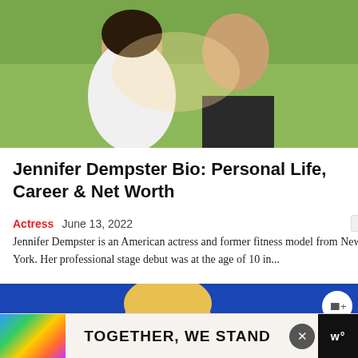[Figure (photo): A couple posing together outdoors; a woman in a white strapless top and a man in a dark suit with light tie, smiling, with green foliage background.]
Jennifer Dempster Bio: Personal Life, Career & Net Worth
Actress   June 13, 2022   0
Jennifer Dempster is an American actress and former fitness model from New York. Her professional stage debut was at the age of 10 in...
[Figure (photo): A blonde woman at a WHCA event, with a blue background showing WHCA text. An advertisement bar at the bottom reads TOGETHER, WE STAND with colorful design elements.]